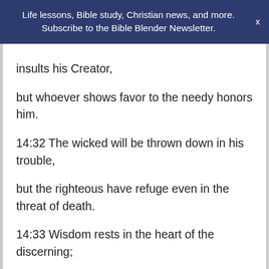Life lessons, Bible study, Christian news, and more. Subscribe to the Bible Blender Newsletter.
insults his Creator,
but whoever shows favor to the needy honors him.
14:32 The wicked will be thrown down in his trouble,
but the righteous have refuge even in the threat of death.
14:33 Wisdom rests in the heart of the discerning;
it is known even in the heart of fools.
14:34 Righteousness exalts a nation,
but sin is a disgrace to any people.